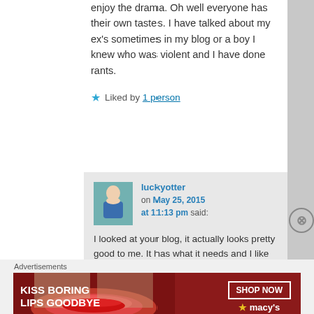enjoy the drama. Oh well everyone has their own tastes. I have talked about my ex's sometimes in my blog or a boy I knew who was violent and I have done rants.
★ Liked by 1 person
luckyotter on May 25, 2015 at 11:13 pm said:
I looked at your blog, it actually looks pretty good to me. It has what it needs and I like the
Advertisements
[Figure (photo): Macy's advertisement banner: KISS BORING LIPS GOODBYE with SHOP NOW button and Macy's star logo on dark red background with woman's face showing red lips]